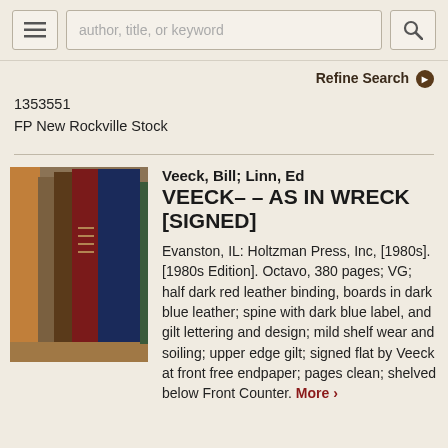author, title, or keyword
Refine Search
1353551
FP New Rockville Stock
[Figure (photo): Photo of a book with half dark red leather binding and dark blue boards, shelved vertically among other books on a wooden shelf.]
Veeck, Bill; Linn, Ed
VEECK-- AS IN WRECK [SIGNED]
Evanston, IL: Holtzman Press, Inc, [1980s]. [1980s Edition]. Octavo, 380 pages; VG; half dark red leather binding, boards in dark blue leather; spine with dark blue label, and gilt lettering and design; mild shelf wear and soiling; upper edge gilt; signed flat by Veeck at front free endpaper; pages clean; shelved below Front Counter. More >